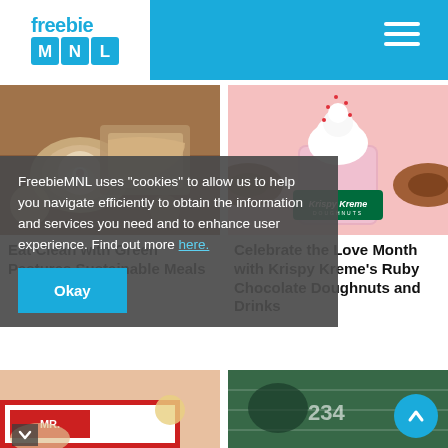FreebieMNL
[Figure (photo): Food flatlay with bowl of dip and bread on wooden board]
[Figure (photo): Krispy Kreme Ruby Chocolate drink with whipped cream and sprinkles]
Eat Clean with Green Pastures Sustainable Meals
Celebrate the Love Month with Krispy Kreme's Ruby Chocolate Doughnuts and Drinks
FreebieMNL uses “cookies” to allow us to help you navigate efficiently to obtain the information and services you need and to enhance user experience. Find out more here.
[Figure (photo): Food items in red and white packaging]
[Figure (photo): Person writing numbers on chalkboard]